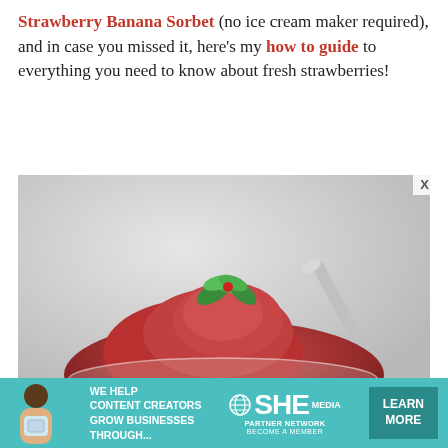Strawberry Banana Sorbet (no ice cream maker required), and in case you missed it, here's my how to guide to everything you need to know about fresh strawberries!
[Figure (photo): A glass dessert bowl filled with a mound of strawberry banana sorbet, garnished with fresh green mint leaves and a small red berry, with a silver spoon leaning against the bowl, on a light gray background.]
[Figure (infographic): Advertisement banner for SHE Media Partner Network in teal/turquoise color. Shows a woman with a tablet on the left, bold white text reading 'WE HELP CONTENT CREATORS GROW BUSINESSES THROUGH...', the SHE logo in the center with 'PARTNER NETWORK - BECOME A MEMBER' text, and a dark teal 'LEARN MORE' button on the right.]